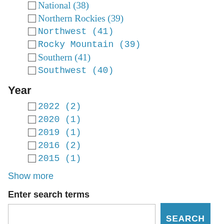National (38)
Northern Rockies (39)
Northwest (41)
Rocky Mountain (39)
Southern (41)
Southwest (40)
Year
2022 (2)
2020 (1)
2019 (1)
2016 (2)
2015 (1)
Show more
Enter search terms